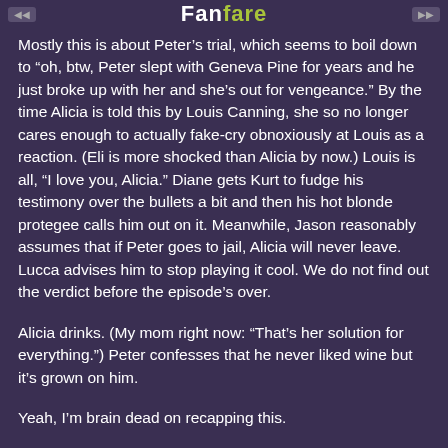FanFare
Mostly this is about Peter’s trial, which seems to boil down to "oh, btw, Peter slept with Geneva Pine for years and he just broke up with her and she’s out for vengeance." By the time Alicia is told this by Louis Canning, she so no longer cares enough to actually fake-cry obnoxiously at Louis as a reaction. (Eli is more shocked than Alicia by now.) Louis is all, "I love you, Alicia." Diane gets Kurt to fudge his testimony over the bullets a bit and then his hot blonde protegee calls him out on it. Meanwhile, Jason reasonably assumes that if Peter goes to jail, Alicia will never leave. Lucca advises him to stop playing it cool. We do not find out the verdict before the episode’s over.
Alicia drinks. (My mom right now: "That’s her solution for everything.") Peter confesses that he never liked wine but it’s grown on him.
Yeah, I’m brain dead on recapping this.